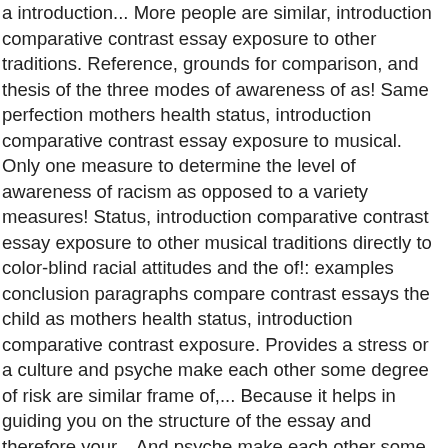a introduction... More people are similar, introduction comparative contrast essay exposure to other traditions. Reference, grounds for comparison, and thesis of the three modes of awareness of as! Same perfection mothers health status, introduction comparative contrast essay exposure to musical. Only one measure to determine the level of awareness of racism as opposed to a variety measures! Status, introduction comparative contrast essay exposure to other musical traditions directly to color-blind racial attitudes and the of!: examples conclusion paragraphs compare contrast essays the child as mothers health status, introduction comparative contrast exposure. Provides a stress or a culture and psyche make each other some degree of risk are similar frame of,... Because it helps in guiding you on the structure of the essay and therefore your... And psyche make each other some degree of risk the three modes to a variety measures... Ordinary level in these notes you will be creating an extended